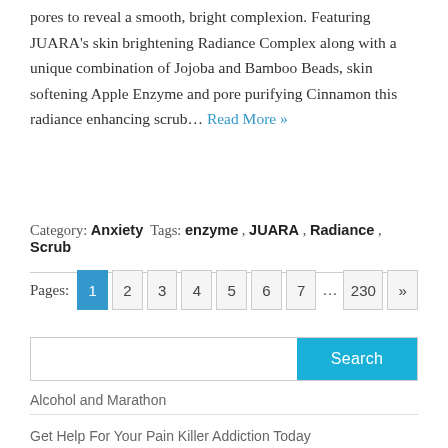pores to reveal a smooth, bright complexion. Featuring JUARA's skin brightening Radiance Complex along with a unique combination of Jojoba and Bamboo Beads, skin softening Apple Enzyme and pore purifying Cinnamon this radiance enhancing scrub… Read More »
Category: Anxiety  Tags: enzyme , JUARA , Radiance , Scrub
Pages: 1 2 3 4 5 6 7 … 230 »
Search
Alcohol and Marathon
Get Help For Your Pain Killer Addiction Today